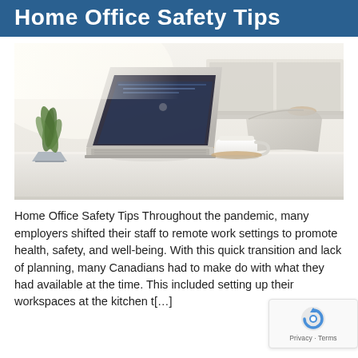Home Office Safety Tips
[Figure (photo): A bright home office setup on a white desk with an open laptop, a white coffee mug on a coaster, a notebook and pen, and a small green plant in a pot. A light grey chair is visible in the background against a white kitchen background.]
Home Office Safety Tips Throughout the pandemic, many employers shifted their staff to remote work settings to promote health, safety, and well-being. With this quick transition and lack of planning, many Canadians had to make do with what they had available at the time. This included setting up their workspaces at the kitchen t[…]